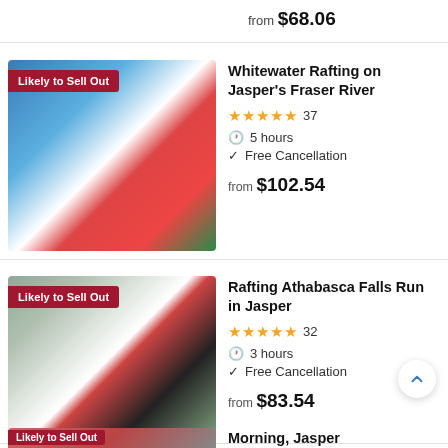from $68.06
[Figure (photo): Whitewater rafting activity photo with 'Likely to Sell Out' badge]
Whitewater Rafting on Jasper's Fraser River
★★★★★ 37
⏱ 5 hours
✓ Free Cancellation
from $102.54
[Figure (photo): Group rafting photo with 'Likely to Sell Out' badge]
Rafting Athabasca Falls Run in Jasper
★★★★★ 32
⏱ 3 hours
✓ Free Cancellation
from $83.54
Morning, Jasper